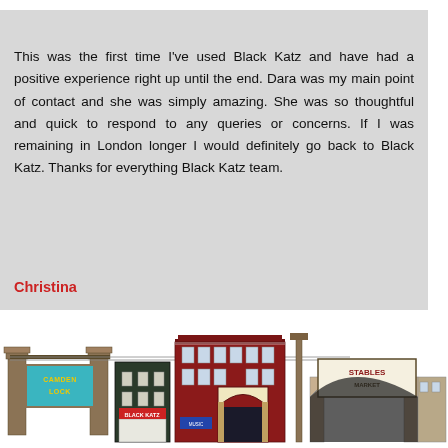Testimonials
This was the first time I've used Black Katz and have had a positive experience right up until the end. Dara was my main point of contact and she was simply amazing. She was so thoughtful and quick to respond to any queries or concerns. If I was remaining in London longer I would definitely go back to Black Katz. Thanks for everything Black Katz team.
Christina
[Figure (illustration): Illustrated skyline of Camden Lock market buildings including the Camden Lock arch sign, Black Katz shop, a Victorian-style building, and the Stables arch.]